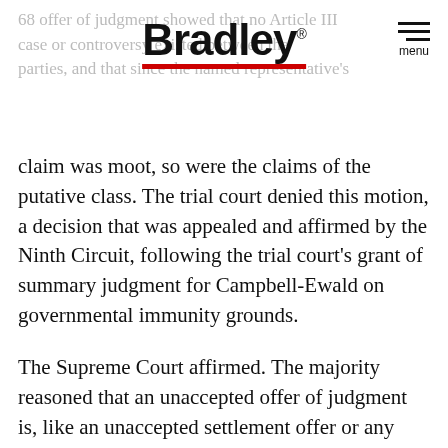68 offer of judgment showed that no Article III case or controversy existed between the parties, and that since the named representative's
claim was moot, so were the claims of the putative class. The trial court denied this motion, a decision that was appealed and affirmed by the Ninth Circuit, following the trial court's grant of summary judgment for Campbell-Ewald on governmental immunity grounds.
The Supreme Court affirmed. The majority reasoned that an unaccepted offer of judgment is, like an unaccepted settlement offer or any other unaccepted contract offer, "a legal nullity." Thus, following an unaccepted offer of judgment, the plaintiff's interest in the lawsuit and